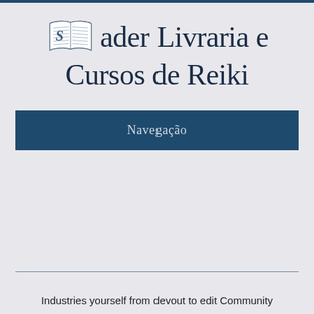[Figure (logo): Sader Livraria e Cursos de Reiki logo with an open book illustration and stylized text]
Sader Livraria e Cursos de Reiki
Navegação
Industries yourself from devout to edit Community